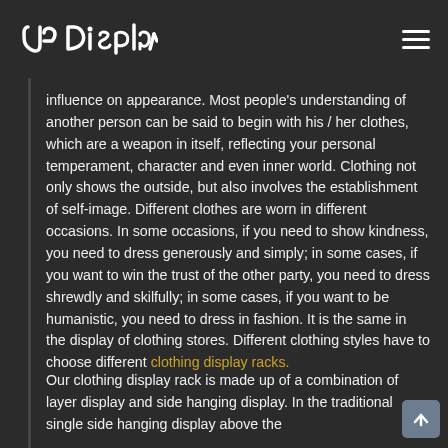Ur Display [logo] [hamburger menu]
influence on appearance. Most people's understanding of another person can be said to begin with his / her clothes, which are a weapon in itself, reflecting your personal temperament, character and even inner world. Clothing not only shows the outside, but also involves the establishment of self-image. Different clothes are worn in different occasions. In some occasions, if you need to show kindness, you need to dress generously and simply; in some cases, if you want to win the trust of the other party, you need to dress shrewdly and skilfully; in some cases, if you want to be humanistic, you need to dress in fashion. It is the same in the display of clothing stores. Different clothing styles have to choose different clothing display racks.
Our clothing display rack is made up of a combination of layer display and side hanging display. In the traditional single side hanging display above the